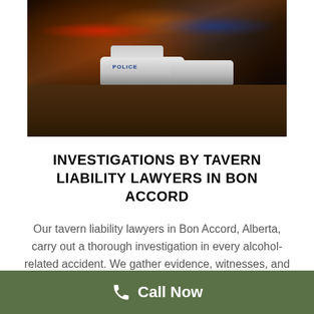[Figure (photo): Night street scene with police cars on an urban street, illuminated by neon signs and city lights]
INVESTIGATIONS BY TAVERN LIABILITY LAWYERS IN BON ACCORD
Our tavern liability lawyers in Bon Accord, Alberta, carry out a thorough investigation in every alcohol-related accident. We gather evidence, witnesses, and any other related issues, including tracing back the
Call Now